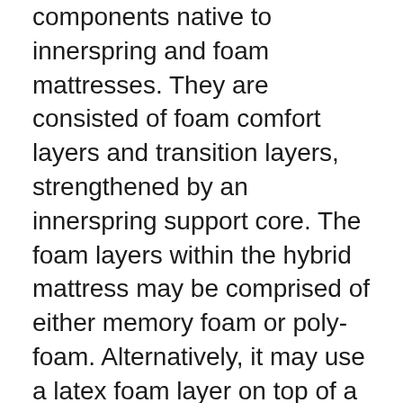components native to innerspring and foam mattresses. They are consisted of foam comfort layers and transition layers, strengthened by an innerspring support core. The foam layers within the hybrid mattress may be comprised of either memory foam or poly-foam. Alternatively, it may use a latex foam layer on top of a different foam shift layer.
The main benefit of foam mattresses of all kinds lies in their ability to adjust and get used to the shape of your body whilst sleeping, using significant convenience. Innerspring mattresses, on the other hand, provide greater levels of responsiveness, with bending coils supplying relief of pressure on the body coupled with much